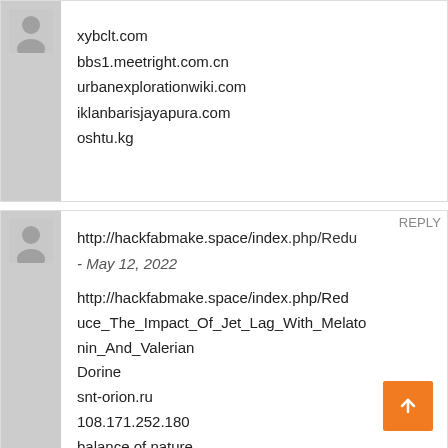xybclt.com
bbs1.meetright.com.cn
urbanexplorationwiki.com
iklanbarisjayapura.com
oshtu.kg
http://hackfabmake.space/index.php/Redu - May 12, 2022
http://hackfabmake.space/index.php/Reduce_The_Impact_Of_Jet_Lag_With_Melatonin_And_Valerian
Dorine
snt-orion.ru
108.171.252.180
balance of nature